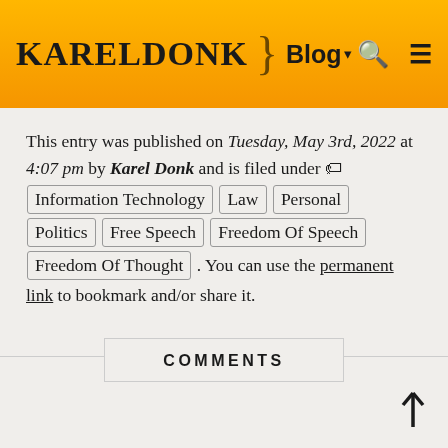KARELDONK } Blog ▾ 🔍 ≡
This entry was published on Tuesday, May 3rd, 2022 at 4:07 pm by Karel Donk and is filed under 🏷 Information Technology Law Personal Politics Free Speech Freedom Of Speech Freedom Of Thought . You can use the permanent link to bookmark and/or share it.
COMMENTS